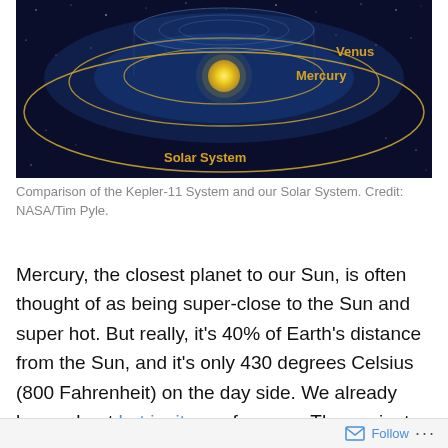[Figure (illustration): Diagram comparing the Kepler-11 System and our Solar System, showing orbital paths on a dark starfield background. The Sun (yellow sphere) is at center, with inner orbital rings labeled 'Mercury' and 'Venus' in gold text, and a larger outer elliptical orbit labeled 'Solar System' at the bottom.]
Comparison of the Kepler-11 System and our Solar System. Credit: NASA/Tim Pyle.
Mercury, the closest planet to our Sun, is often thought of as being super-close to the Sun and super hot. But really, it's 40% of Earth's distance from the Sun, and it's only 430 degrees Celsius (800 Fahrenheit) on the day side. We already knew about hot jupiters, of course. These giants can be as close as 5% of Earth's distance from the Sun
Follow ...